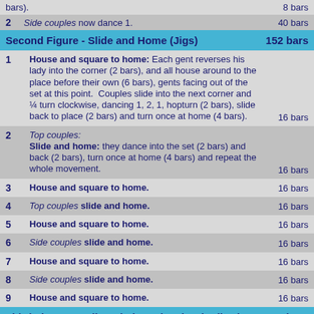bars).  8 bars
2  Side couples now dance 1.  40 bars
Second Figure - Slide and Home (Jigs)  152 bars
1  House and square to home: Each gent reverses his lady into the corner (2 bars), and all house around to the place before their own (6 bars), gents facing out of the set at this point.  Couples slide into the next corner and ¼ turn clockwise, dancing 1, 2, 1, hopturn (2 bars), slide back to place (2 bars) and turn once at home (4 bars).  16 bars
2  Top couples: Slide and home: they dance into the set (2 bars) and back (2 bars), turn once at home (4 bars) and repeat the whole movement.  16 bars
3  House and square to home.  16 bars
4  Top couples slide and home.  16 bars
5  House and square to home.  16 bars
6  Side couples slide and home.  16 bars
7  House and square to home.  16 bars
8  Side couples slide and home.  16 bars
9  House and square to home.  16 bars
Third Figure - Ladies Chain and Swing (Polkas)  104 bars